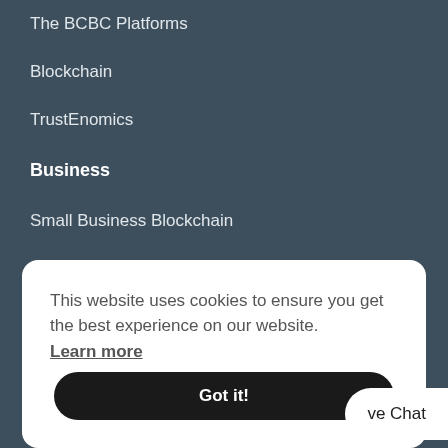The BCBC Platforms
Blockchain
TrustEnomics
Business
Small Business Blockchain
BCERTin Pilot Wallet
Windows
This website uses cookies to ensure you get the best experience on our website. Learn more
Got it!